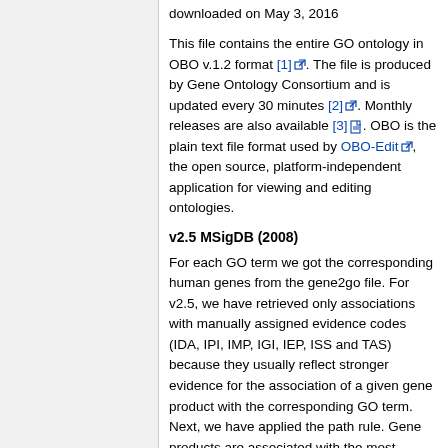downloaded on May 3, 2016
This file contains the entire GO ontology in OBO v.1.2 format [1]. The file is produced by Gene Ontology Consortium and is updated every 30 minutes [2]. Monthly releases are also available [3]. OBO is the plain text file format used by OBO-Edit, the open source, platform-independent application for viewing and editing ontologies.
v2.5 MSigDB (2008)
For each GO term we got the corresponding human genes from the gene2go file. For v2.5, we have retrieved only associations with manually assigned evidence codes (IDA, IPI, IMP, IGI, IEP, ISS and TAS) because they usually reflect stronger evidence for the association of a given gene product with the corresponding GO term. Next, we have applied the path rule. Gene products are associated with the most specific GO terms possible. All parent terms up to the root automatically apply to the gene product. Thus, the parent GO term